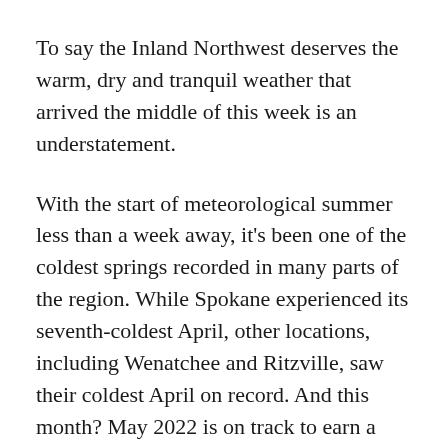To say the Inland Northwest deserves the warm, dry and tranquil weather that arrived the middle of this week is an understatement.
With the start of meteorological summer less than a week away, it's been one of the coldest springs recorded in many parts of the region. While Spokane experienced its seventh-coldest April, other locations, including Wenatchee and Ritzville, saw their coldest April on record. And this month? May 2022 is on track to earn a spot on the top-10 list of coldest Mays. So cold, in fact, that several Alaska communities were warmer than Spokane last week, according to a tweet by the National Weather Service Spokane.